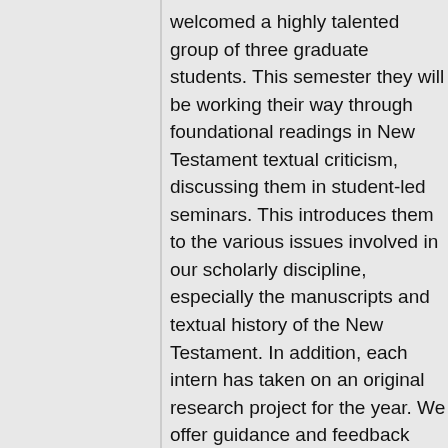welcomed a highly talented group of three graduate students. This semester they will be working their way through foundational readings in New Testament textual criticism, discussing them in student-led seminars. This introduces them to the various issues involved in our scholarly discipline, especially the manuscripts and textual history of the New Testament. In addition, each intern has taken on an original research project for the year. We offer guidance and feedback through the project that gives students opportunities to develop vital skills—critical thought, careful use of sources, accurate writing, and concise presentation. At the end, our interns will be contributing members to the field of NT